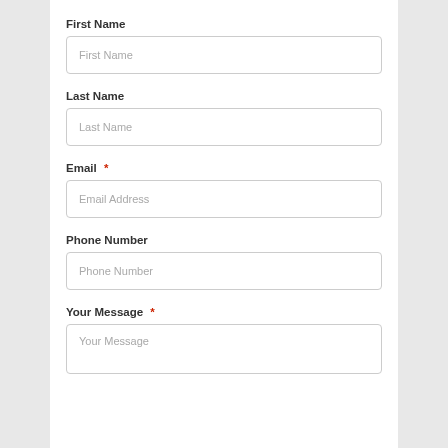First Name
First Name (placeholder)
Last Name
Last Name (placeholder)
Email *
Email Address (placeholder)
Phone Number
Phone Number (placeholder)
Your Message *
Your Message (placeholder)